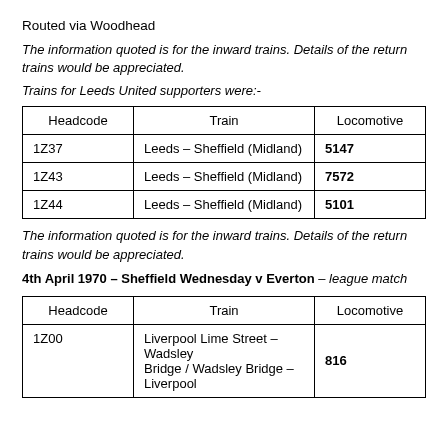Routed via Woodhead
The information quoted is for the inward trains. Details of the return trains would be appreciated.
Trains for Leeds United supporters were:-
| Headcode | Train | Locomotive |
| --- | --- | --- |
| 1Z37 | Leeds – Sheffield (Midland) | 5147 |
| 1Z43 | Leeds – Sheffield (Midland) | 7572 |
| 1Z44 | Leeds – Sheffield (Midland) | 5101 |
The information quoted is for the inward trains. Details of the return trains would be appreciated.
4th April 1970 – Sheffield Wednesday v Everton – league match
| Headcode | Train | Locomotive |
| --- | --- | --- |
| 1Z00 | Liverpool Lime Street – Wadsley Bridge / Wadsley Bridge – Liverpool | 816 |